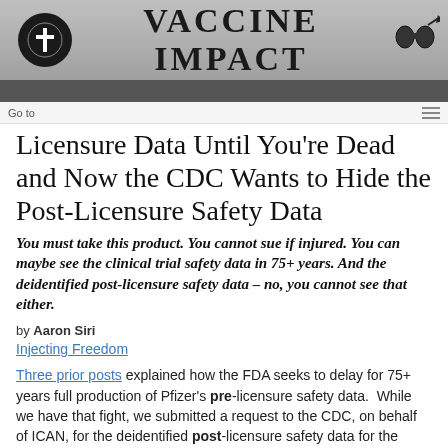[Figure (logo): Vaccine Impact website header banner with logo circle on left, 'VACCINE IMPACT' title in center, binoculars and arrow icons on right, gray gradient background]
Go to
Licensure Data Until You're Dead and Now the CDC Wants to Hide the Post-Licensure Safety Data
You must take this product. You cannot sue if injured. You can maybe see the clinical trial safety data in 75+ years. And the deidentified post-licensure safety data – no, you cannot see that either.
by Aaron Siri
Injecting Freedom
Three prior posts explained how the FDA seeks to delay for 75+ years full production of Pfizer's pre-licensure safety data.  While we have that fight, we submitted a request to the CDC, on behalf of ICAN, for the deidentified post-licensure safety data for the Covid-19 vaccines in the